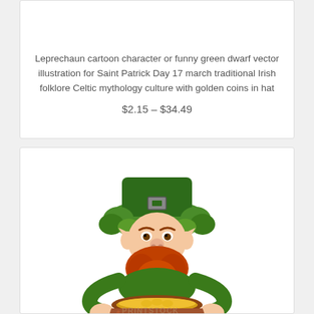Leprechaun cartoon character or funny green dwarf vector illustration for Saint Patrick Day 17 march traditional Irish folklore Celtic mythology culture with golden coins in hat
$2.15 – $34.49
[Figure (illustration): Cartoon leprechaun character with green hat, red beard, green jacket, holding a brown pot of gold coins. Watermark text 'PRINTSTOCK' visible in center.]